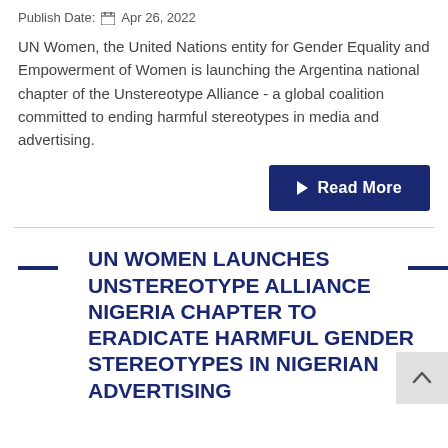Publish Date: Apr 26, 2022
UN Women, the United Nations entity for Gender Equality and Empowerment of Women is launching the Argentina national chapter of the Unstereotype Alliance - a global coalition committed to ending harmful stereotypes in media and advertising.
UN WOMEN LAUNCHES UNSTEREOTYPE ALLIANCE NIGERIA CHAPTER TO ERADICATE HARMFUL GENDER STEREOTYPES IN NIGERIAN ADVERTISING